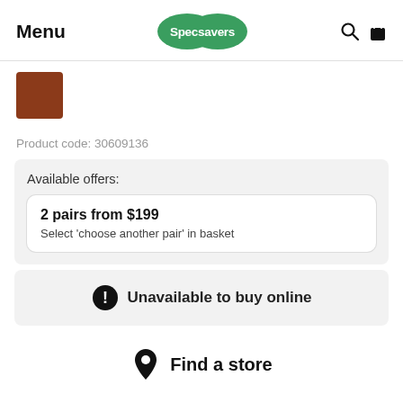Menu | Specsavers
[Figure (illustration): Brown/rust-colored square swatch indicating product color]
Product code: 30609136
Available offers:
2 pairs from $199
Select 'choose another pair' in basket
Unavailable to buy online
Find a store